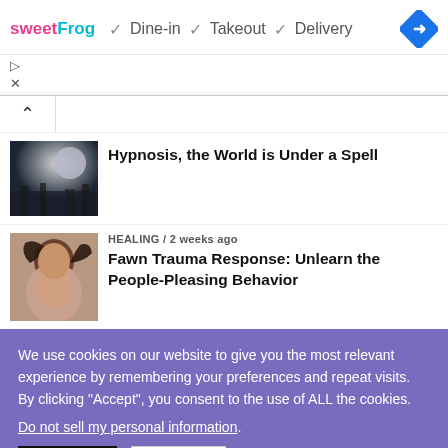[Figure (screenshot): SweetFrog ad banner with dine-in, takeout, delivery options and navigation icon]
▷
✕
⌃
Hypnosis, the World is Under a Spell
HEALING / 2 weeks ago
Fawn Trauma Response: Unlearn the People-Pleasing Behavior
We use cookies on our website to give you the most relevant experience by remembering your preferences and repeat visits. By clicking "Accept", you consent to the use of ALL the cookies.
Do not sell my personal information.
Settings    Accept